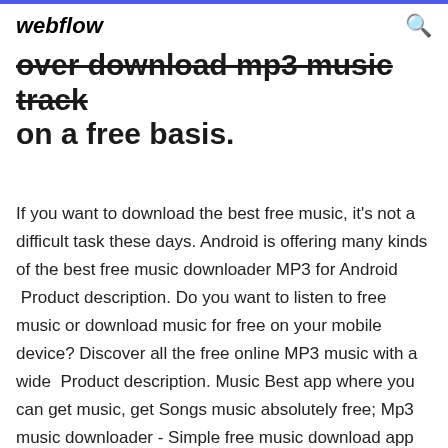webflow
over download mp3 music track on a free basis.
If you want to download the best free music, it's not a difficult task these days. Android is offering many kinds of the best free music downloader MP3 for Android  Product description. Do you want to listen to free music or download music for free on your mobile device? Discover all the free online MP3 music with a wide  Product description. Music Best app where you can get music, get Songs music absolutely free; Mp3 music downloader - Simple free music download app Cc-Authorised for Kindle Fire. We Got Soul Download - 2 2 out of 5 stars 419 - $0.99 - Buy it